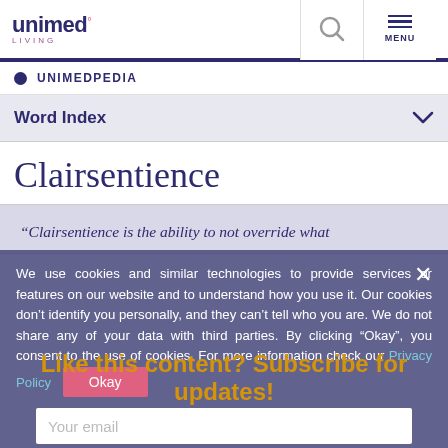Unimed Living — header with search and menu
UNIMEDPEDIA
Word Index
Clairsentience
“Clairsentience is the ability to not override what
We use cookies and similar technologies to provide services or features on our website and to understand how you use it. Our cookies don’t identify you personally, and they can’t tell who you are. We do not share any of your data with third parties. By clicking "Okay", you consent to the use of cookies. For more information check our Privacy Policy
Like this content? Subscribe for updates!
Your email